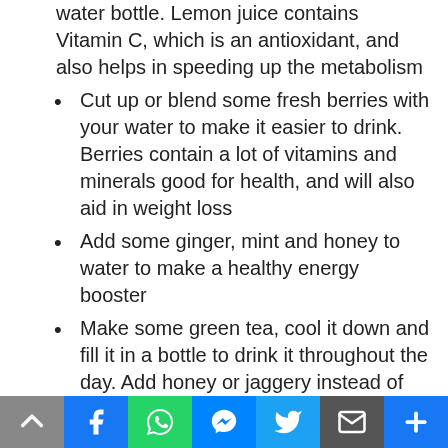water bottle. Lemon juice contains Vitamin C, which is an antioxidant, and also helps in speeding up the metabolism
Cut up or blend some fresh berries with your water to make it easier to drink. Berries contain a lot of vitamins and minerals good for health, and will also aid in weight loss
Add some ginger, mint and honey to water to make a healthy energy booster
Make some green tea, cool it down and fill it in a bottle to drink it throughout the day. Add honey or jaggery instead of white sugar to sweeten it
[Figure (infographic): Social media share buttons bar at bottom: Facebook (blue), WhatsApp (green), Messenger (blue), Twitter (light blue), Email (dark grey), Plus/more (blue). Also a scroll-up grey button.]